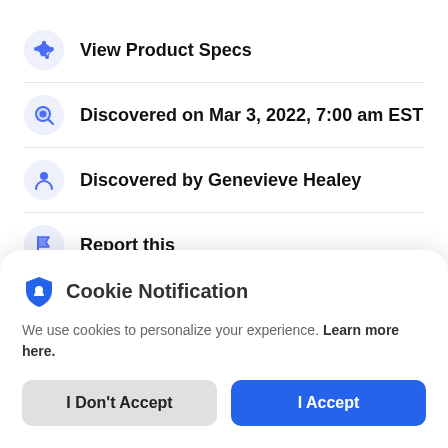View Product Specs
Discovered on Mar 3, 2022, 7:00 am EST
Discovered by Genevieve Healey
Report this
Cookie Notification
We use cookies to personalize your experience. Learn more here.
I Don't Accept
I Accept